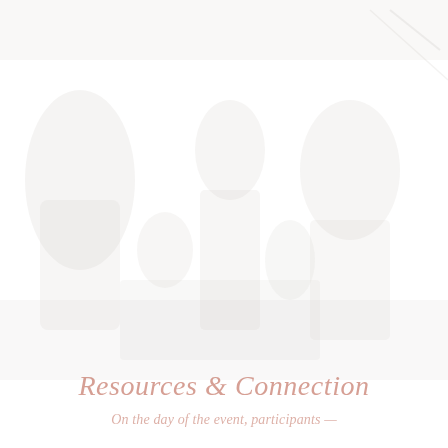[Figure (photo): A very faint, nearly white background photograph showing people or figures in an outdoor or event setting, extremely low contrast against white background, spanning the upper three-quarters of the page.]
Resources & Connection
On the day of the event, participants —